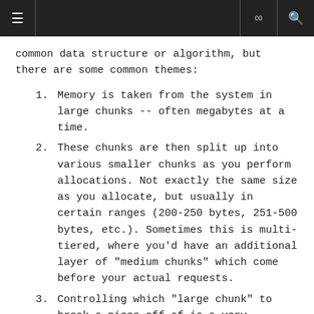≡  ∞  🔍
common data structure or algorithm, but there are some common themes:
Memory is taken from the system in large chunks -- often megabytes at a time.
These chunks are then split up into various smaller chunks as you perform allocations. Not exactly the same size as you allocate, but usually in certain ranges (200-250 bytes, 251-500 bytes, etc.). Sometimes this is multi-tiered, where you'd have an additional layer of "medium chunks" which come before your actual requests.
Controlling which "large chunk" to break a piece off of is a very difficult and important thing to do -- this greatly affects memory fragmentation.
One or more free pools (aka "free list", "memory pool", "lookaside list") are maintained for each of